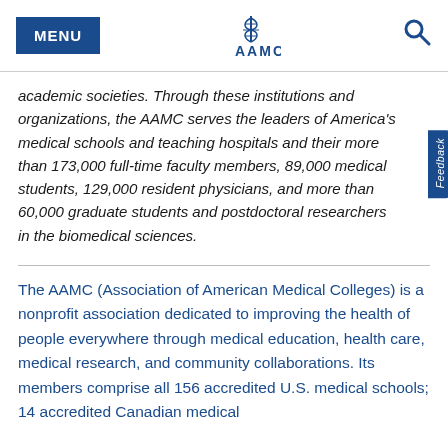MENU | AAMC | Search
academic societies. Through these institutions and organizations, the AAMC serves the leaders of America's medical schools and teaching hospitals and their more than 173,000 full-time faculty members, 89,000 medical students, 129,000 resident physicians, and more than 60,000 graduate students and postdoctoral researchers in the biomedical sciences.
The AAMC (Association of American Medical Colleges) is a nonprofit association dedicated to improving the health of people everywhere through medical education, health care, medical research, and community collaborations. Its members comprise all 156 accredited U.S. medical schools; 14 accredited Canadian medical